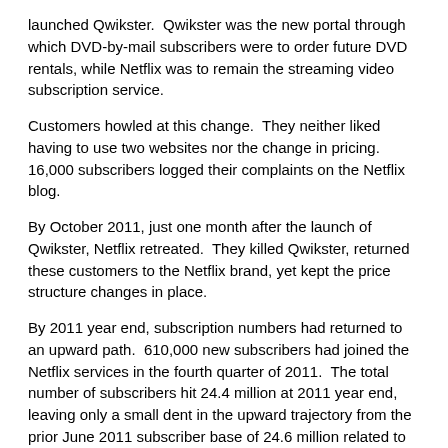launched Qwikster. Qwikster was the new portal through which DVD-by-mail subscribers were to order future DVD rentals, while Netflix was to remain the streaming video subscription service.
Customers howled at this change. They neither liked having to use two websites nor the change in pricing. 16,000 subscribers logged their complaints on the Netflix blog.
By October 2011, just one month after the launch of Qwikster, Netflix retreated. They killed Qwikster, returned these customers to the Netflix brand, yet kept the price structure changes in place.
By 2011 year end, subscription numbers had returned to an upward path. 610,000 new subscribers had joined the Netflix services in the fourth quarter of 2011. The total number of subscribers hit 24.4 million at 2011 year end, leaving only a small dent in the upward trajectory from the prior June 2011 subscriber base of 24.6 million related to the third-quarter pricing and branding changes.
It appeared as though the customer complaints were arising more from a branding challenge than a pricing challenge. Customers really didn't like the new Qwikster brand, Qwikster website, nor Qwikster login-process, but they were willing to accept the new pricing structure.